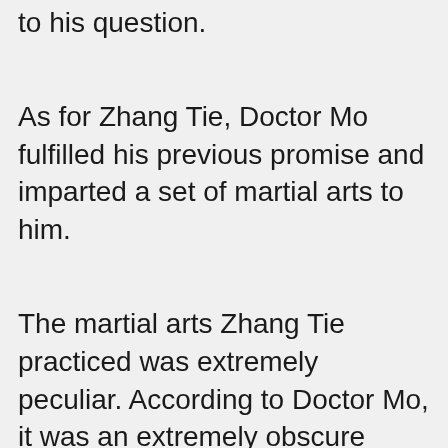to his question.
As for Zhang Tie, Doctor Mo fulfilled his previous promise and imparted a set of martial arts to him.
The martial arts Zhang Tie practiced was extremely peculiar. According to Doctor Mo, it was an extremely obscure branch of martial arts named the “Way of the Armored Elephant”. Even the name of this particular martial art was rarely heard of, let alone the existence of practitioners who actually cultivated it.
It differed from the martial arts of regular practitioners in Jiang Hu. Generally, the progression of cultivation for normal martial arts ranged from easy to difficult. As